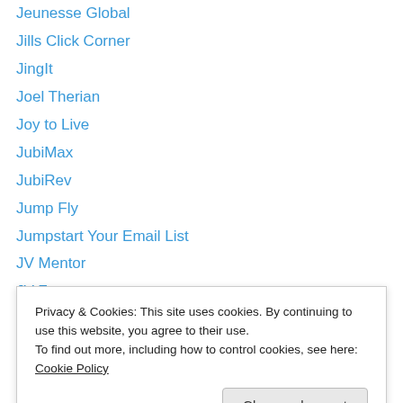Jeunesse Global
Jills Click Corner
JingIt
Joel Therian
Joy to Live
JubiMax
JubiRev
Jump Fly
Jumpstart Your Email List
JV Mentor
JV Zoo
JVZoo
Kaiabi
Privacy & Cookies: This site uses cookies. By continuing to use this website, you agree to their use. To find out more, including how to control cookies, see here: Cookie Policy
Kater...ng
kaMiTe Doki Diki